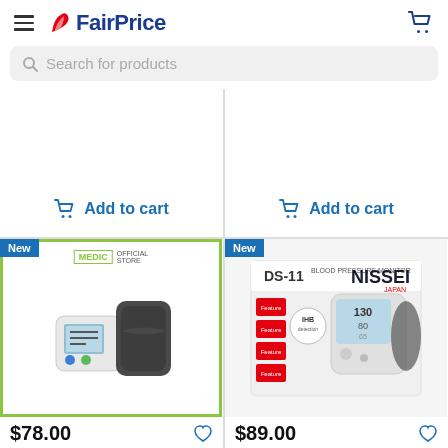FairPrice
Search for products
[Figure (screenshot): Add to cart button with shopping cart icon (left product, top)]
[Figure (screenshot): Add to cart button with shopping cart icon (right product, top)]
[Figure (photo): Fitchecks Arm-Type Fully Auto Blood Pressure Monitor product image in green-bordered box, with MEDIC OFFICIAL STORE logo]
$78.00
Fitchecks Arm-Type Fully Auto Blood Pressure
[Figure (photo): Nissei Blood Pressure Monitor DS-11 product box image, NISSEI JAPAN branding]
$89.00
Nissei Blood Pressure Montior (DS-11)